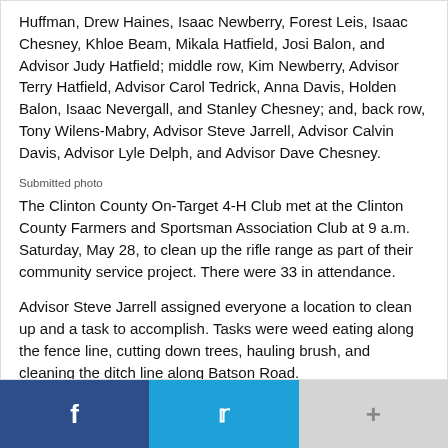Huffman, Drew Haines, Isaac Newberry, Forest Leis, Isaac Chesney, Khloe Beam, Mikala Hatfield, Josi Balon, and Advisor Judy Hatfield; middle row, Kim Newberry, Advisor Terry Hatfield, Advisor Carol Tedrick, Anna Davis, Holden Balon, Isaac Nevergall, and Stanley Chesney; and, back row, Tony Wilens-Mabry, Advisor Steve Jarrell, Advisor Calvin Davis, Advisor Lyle Delph, and Advisor Dave Chesney.
Submitted photo
The Clinton County On-Target 4-H Club met at the Clinton County Farmers and Sportsman Association Club at 9 a.m. Saturday, May 28, to clean up the rifle range as part of their community service project. There were 33 in attendance.
Advisor Steve Jarrell assigned everyone a location to clean up and a task to accomplish. Tasks were weed eating along the fence line, cutting down trees, hauling brush, and cleaning the ditch line along Batson Road.